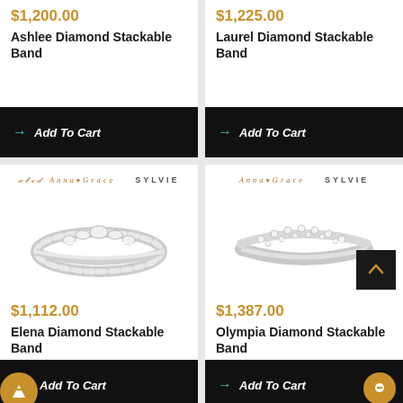$1,200.00
Ashlee Diamond Stackable Band
Add To Cart
$1,225.00
Laurel Diamond Stackable Band
Add To Cart
[Figure (photo): Sylvie branded diamond stackable band ring - Elena]
$1,112.00
Elena Diamond Stackable Band
Add To Cart
[Figure (photo): Sylvie branded diamond stackable band ring - Olympia]
$1,387.00
Olympia Diamond Stackable Band
Add To Cart